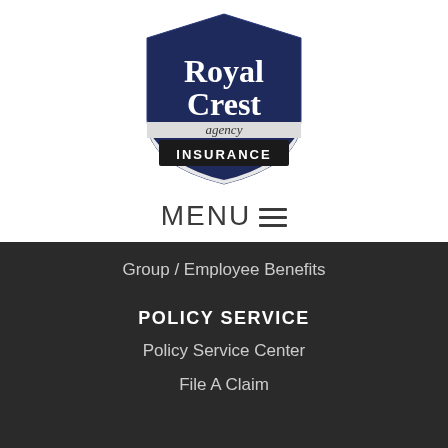[Figure (logo): Royal Crest Agency Insurance shield logo — dark navy blue shield with 'Royal Crest' in white serif text and 'agency' in smaller text, with a black banner at the bottom reading 'INSURANCE' in white capitals]
MENU ☰
Group / Employee Benefits
POLICY SERVICE
Policy Service Center
File A Claim